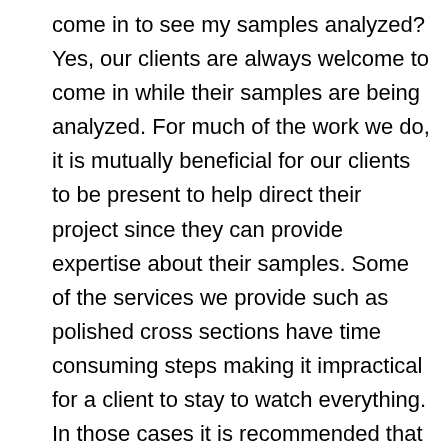come in to see my samples analyzed? Yes, our clients are always welcome to come in while their samples are being analyzed. For much of the work we do, it is mutually beneficial for our clients to be present to help direct their project since they can provide expertise about their samples. Some of the services we provide such as polished cross sections have time consuming steps making it impractical for a client to stay to watch everything. In those cases it is recommended that you come in initially to explain what you need done and come back at a later time to see the finished product.
The client was able to determine the source of the black dust was due to the mechanical breakdown of